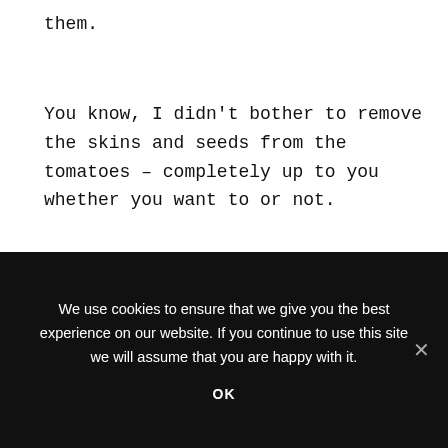them.
You know, I didn't bother to remove the skins and seeds from the tomatoes – completely up to you whether you want to or not.
* gluten-free, wheat-free, dairy-free, yeast-free, soya-free, egg-free, seed-free
Gluten-Free & Dairy-Free Detox ★★★★★
We use cookies to ensure that we give you the best experience on our website. If you continue to use this site we will assume that you are happy with it. OK